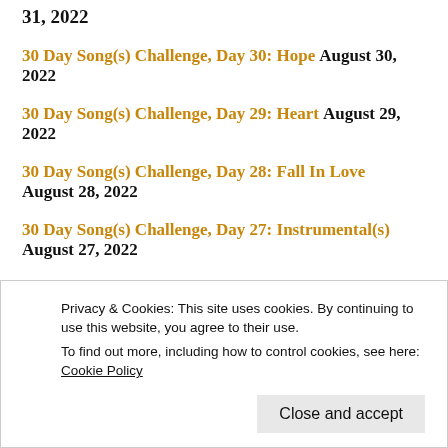31, 2022
30 Day Song(s) Challenge, Day 30: Hope August 30, 2022
30 Day Song(s) Challenge, Day 29: Heart August 29, 2022
30 Day Song(s) Challenge, Day 28: Fall In Love August 28, 2022
30 Day Song(s) Challenge, Day 27: Instrumental(s) August 27, 2022
Privacy & Cookies: This site uses cookies. By continuing to use this website, you agree to their use.
To find out more, including how to control cookies, see here: Cookie Policy
Close and accept